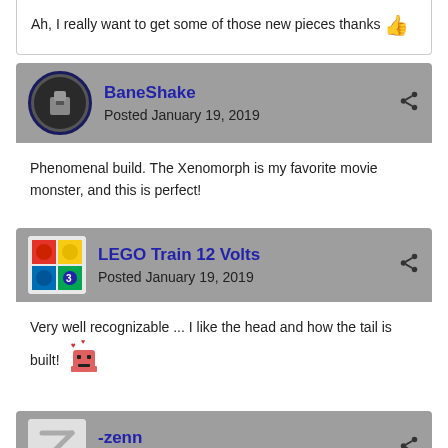Ah, I really want to get some of those new pieces thanks 👍
BaneShake
Posted January 19, 2019
Phenomenal build. The Xenomorph is my favorite movie monster, and this is perfect!
LEGO Train 12 Volts
Posted January 19, 2019
Very well recognizable ... I like the head and how the tail is built! 😊
-zenn
Posted January 19, 2019